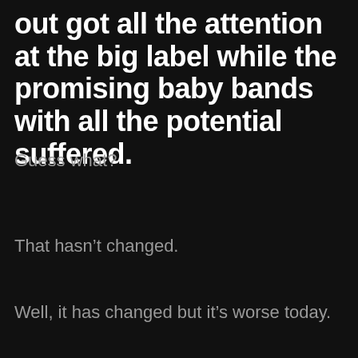out got all the attention at the big label while the promising baby bands with all the potential suffered.
Guess what?
That hasn’t changed.
Well, it has changed but it’s worse today.